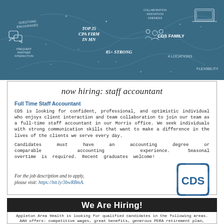[Figure (illustration): Dark teal/blue banner with hand-drawn style text and icons: 'TOP 25 CPA FIRM IN MN', 'CDS FAMILY', 'QUESTIONS ENCOURAGED', 'COLLABORATION INNOVATION KINDNESS', 'FREQUENT PARTNER INTERACTION', '85+ STRONG', '4 LOCATIONS', 'FLEXIBILITY', computer icon, group icon, speech bubble icons, plus signs and decorative marks.]
now hiring: staff accountant
Full Time Staff Accountant
CDS is looking for confident, professional, and optimistic individual who enjoys client interaction and team collaboration to join our team as a full-time staff accountant in our Morris office. We seek individuals with strong communication skills that want to make a difference in the lives of the clients we serve every day.
Candidates must have an accounting degree or comparable accounting experience. Seasonal overtime is required. Recent graduates welcome!
For the job description and to apply, please visit: https://bit.ly/3bwRBmA.
[Figure (logo): CDS logo: square bracket style box with 'CDS' text inside in dark teal color]
We Are Hiring!
Appleton Area Health is looking for qualified candidates in the following areas. AAH offers: competitive wages, great benefits, generous PERA retirement plan, scholarships, student loan reimbursement, and a great working environment.